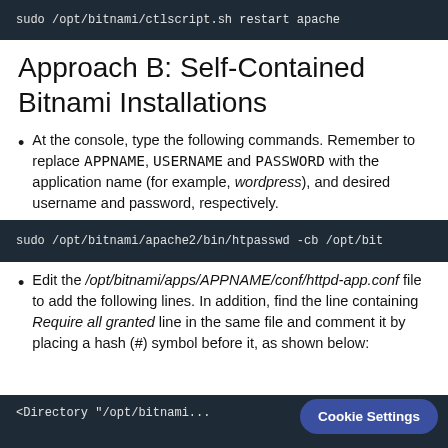[Figure (screenshot): Dark terminal code block showing: sudo /opt/bitnami/ctlscript.sh restart apache]
Approach B: Self-Contained Bitnami Installations
At the console, type the following commands. Remember to replace APPNAME, USERNAME and PASSWORD with the application name (for example, wordpress), and desired username and password, respectively.
[Figure (screenshot): Dark terminal code block showing: sudo /opt/bitnami/apache2/bin/htpasswd -cb /opt/bit]
Edit the /opt/bitnami/apps/APPNAME/conf/httpd-app.conf file to add the following lines. In addition, find the line containing Require all granted line in the same file and comment it by placing a hash (#) symbol before it, as shown below:
[Figure (screenshot): Dark terminal code block showing: <Directory "/opt/bitnami...]